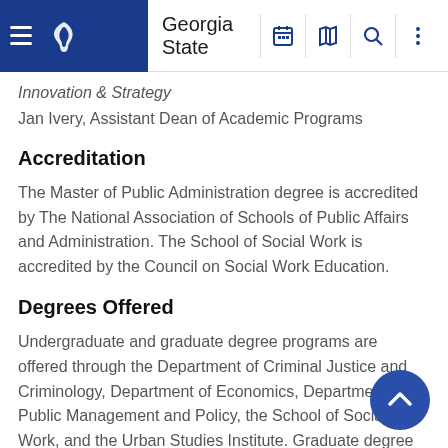Georgia State
Innovation & Strategy
Jan Ivery, Assistant Dean of Academic Programs
Accreditation
The Master of Public Administration degree is accredited by The National Association of Schools of Public Affairs and Administration. The School of Social Work is accredited by the Council on Social Work Education.
Degrees Offered
Undergraduate and graduate degree programs are offered through the Department of Criminal Justice and Criminology, Department of Economics, Department of Public Management and Policy, the School of Social Work, and the Urban Studies Institute. Graduate degree programs are listed at the end of this section. The Andrew Young School of Policy Studies offers the following undergraduate